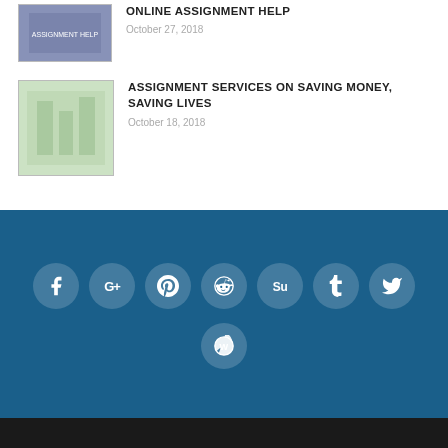[Figure (photo): Thumbnail image for article about online assignment help, dark purple/blue tones]
ONLINE ASSIGNMENT HELP
October 27, 2018
[Figure (photo): Thumbnail image for article about assignment services on saving money, saving lives, green-toned building exterior]
ASSIGNMENT SERVICES ON SAVING MONEY, SAVING LIVES
October 18, 2018
[Figure (infographic): Social media icons row: Facebook, Google+, Pinterest, Reddit, StumbleUpon, Tumblr, Twitter, and WordPress, white icons on dark blue background circular buttons]
UNIVERSITIES   STUDY MATERIAL   ONLINE TUTOR
© All Reserved By Merit Guru's